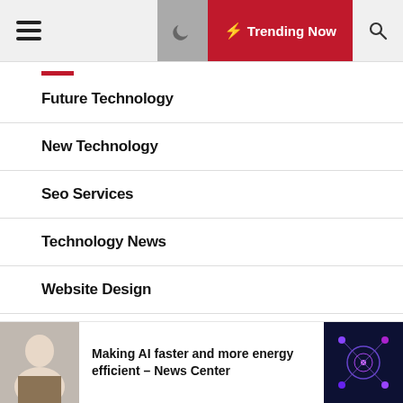Trending Now
Future Technology
New Technology
Seo Services
Technology News
Website Design
Website Seo
Making AI faster and more energy efficient – News Center